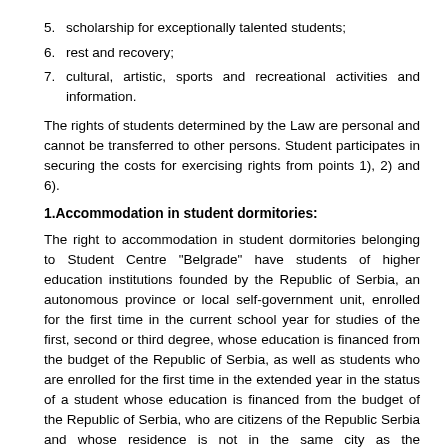5. scholarship for exceptionally talented students;
6. rest and recovery;
7. cultural, artistic, sports and recreational activities and information.
The rights of students determined by the Law are personal and cannot be transferred to other persons. Student participates in securing the costs for exercising rights from points 1), 2) and 6).
1.Accommodation in student dormitories:
The right to accommodation in student dormitories belonging to Student Centre "Belgrade" have students of higher education institutions founded by the Republic of Serbia, an autonomous province or local self-government unit, enrolled for the first time in the current school year for studies of the first, second or third degree, whose education is financed from the budget of the Republic of Serbia, as well as students who are enrolled for the first time in the extended year in the status of a student whose education is financed from the budget of the Republic of Serbia, who are citizens of the Republic Serbia and whose residence is not in the same city as the headquarters of the higher education institution at which they study. Students from vulnerable social